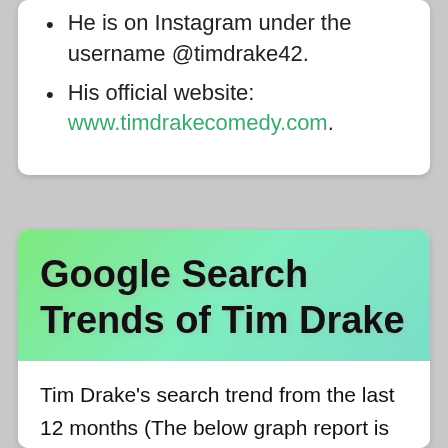He is on Instagram under the username @timdrake42.
His official website: www.timdrakecomedy.com.
Google Search Trends of Tim Drake
Tim Drake's search trend from the last 12 months (The below graph report is directly fetched from the 'Google Trends'):
[Figure (other): Google Trends chart placeholder area]